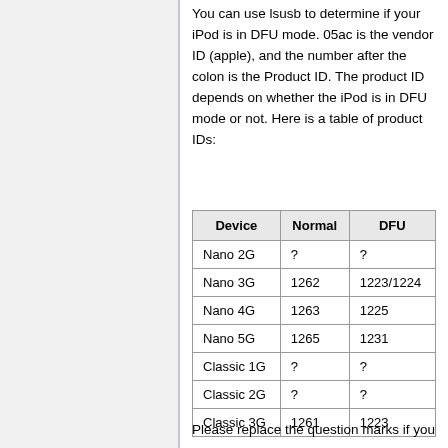You can use lsusb to determine if your iPod is in DFU mode. 05ac is the vendor ID (apple), and the number after the colon is the Product ID. The product ID depends on whether the iPod is in DFU mode or not. Here is a table of product IDs:
| Device | Normal | DFU |
| --- | --- | --- |
| Nano 2G | ? | ? |
| Nano 3G | 1262 | 1223/1224 |
| Nano 4G | 1263 | 1225 |
| Nano 5G | 1265 | 1231 |
| Classic 1G | ? | ? |
| Classic 2G | ? | ? |
| Classic 3G | 1261 | 1223 |
Please replace the question marks if you